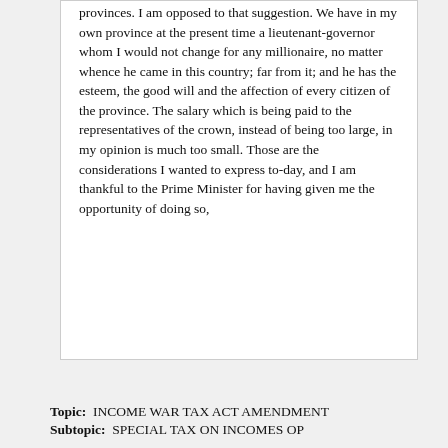provinces. I am opposed to that suggestion. We have in my own province at the present time a lieutenant-governor whom I would not change for any millionaire, no matter whence he came in this country; far from it; and he has the esteem, the good will and the affection of every citizen of the province. The salary which is being paid to the representatives of the crown, instead of being too large, in my opinion is much too small. Those are the considerations I wanted to express to-day, and I am thankful to the Prime Minister for having given me the opportunity of doing so,
Topic:  INCOME WAR TAX ACT AMENDMENT
Subtopic:  SPECIAL TAX ON INCOMES OP